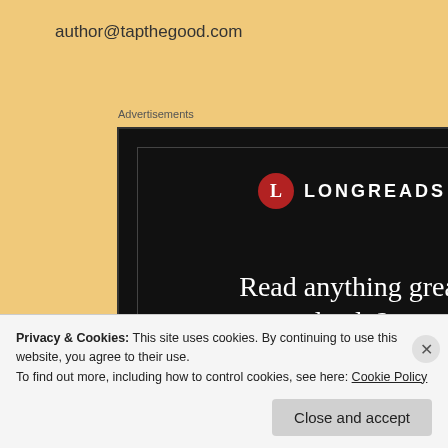author@tapthegood.com
Advertisements
[Figure (screenshot): Longreads advertisement on black background with logo, 'Read anything great lately?' headline and 'Start reading' red button]
Privacy & Cookies: This site uses cookies. By continuing to use this website, you agree to their use.
To find out more, including how to control cookies, see here: Cookie Policy
Close and accept